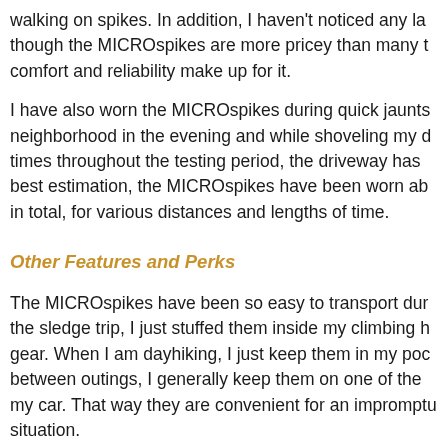walking on spikes. In addition, I haven't noticed any la though the MICROspikes are more pricey than many t comfort and reliability make up for it.
I have also worn the MICROspikes during quick jaunts neighborhood in the evening and while shoveling my d times throughout the testing period, the driveway has best estimation, the MICROspikes have been worn ab in total, for various distances and lengths of time.
Other Features and Perks
The MICROspikes have been so easy to transport dur the sledge trip, I just stuffed them inside my climbing h gear. When I am dayhiking, I just keep them in my poc between outings, I generally keep them on one of the my car. That way they are convenient for an impromptu situation.
The elastomer harnesses are a bright red color. When